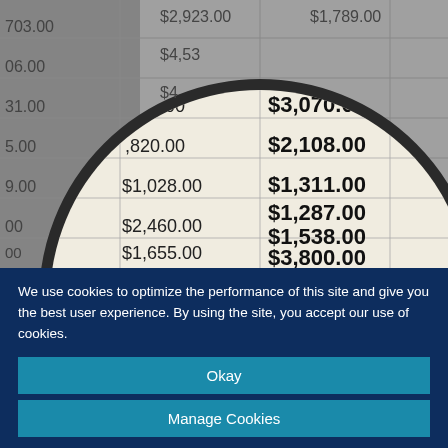[Figure (photo): A magnifying glass placed over a financial spreadsheet showing dollar amounts including $4,623.00, $3,070.00, $2,108.00, $1,311.00, $1,287.00, $1,538.00, $3,800.00, $2,923.00, $1,789.00, $2,460.00, $1,655.00, $1,028.00 and partial values]
We use cookies to optimize the performance of this site and give you the best user experience. By using the site, you accept our use of cookies.
Okay
Manage Cookies